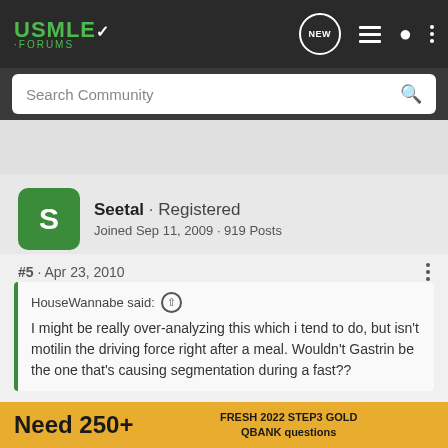USMLE FORUMS
Search Community
Seetal · Registered
Joined Sep 11, 2009 · 919 Posts
#5 · Apr 23, 2010
HouseWannabe said: ↑
I might be really over-analyzing this which i tend to do, but isn't motilin the driving force right after a meal. Wouldn't Gastrin be the one that's causing segmentation during a fast??
thats ex... motilin is releas...
[Figure (other): Advertisement banner: Need 250+ FRESH 2022 STEP3 GOLD QBANK questions]